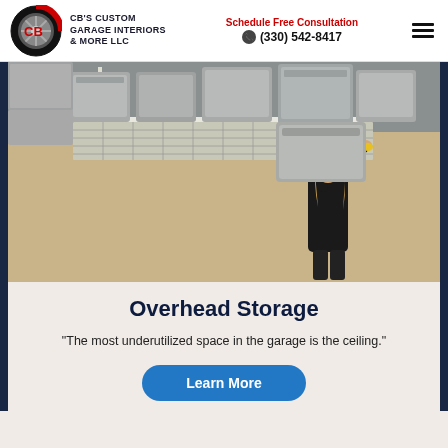CB'S CUSTOM GARAGE INTERIORS & MORE LLC | Schedule Free Consultation (330) 542-8417
[Figure (photo): A woman with blonde hair wearing a black long-sleeve shirt reaching up to place a gray storage bin onto an overhead ceiling-mounted wire rack storage system. Multiple gray plastic bins are stored on the rack above her. The garage wall is a tan/beige color.]
Overhead Storage
"The most underutilized space in the garage is the ceiling."
Learn More